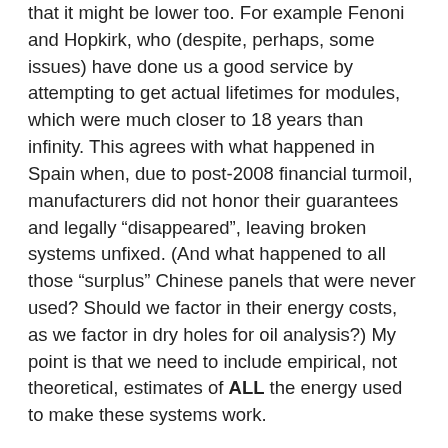that it might be lower too. For example Fenoni and Hopkirk, who (despite, perhaps, some issues) have done us a good service by attempting to get actual lifetimes for modules, which were much closer to 18 years than infinity. This agrees with what happened in Spain when, due to post-2008 financial turmoil, manufacturers did not honor their guarantees and legally “disappeared”, leaving broken systems unfixed. (And what happened to all those “surplus” Chinese panels that were never used? Should we factor in their energy costs, as we factor in dry holes for oil analysis?) My point is that we need to include empirical, not theoretical, estimates of ALL the energy used to make these systems work.
This is what Prieto and Hall did, imperfectly I am